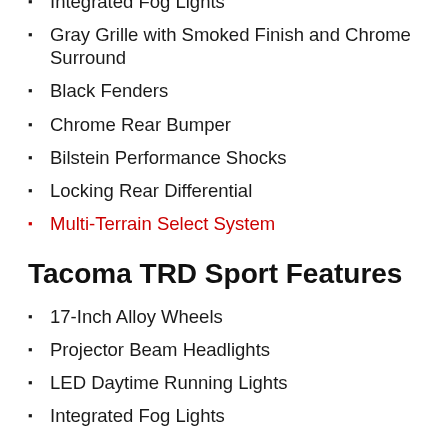Integrated Fog Lights
Gray Grille with Smoked Finish and Chrome Surround
Black Fenders
Chrome Rear Bumper
Bilstein Performance Shocks
Locking Rear Differential
Multi-Terrain Select System
Tacoma TRD Sport Features
17-Inch Alloy Wheels
Projector Beam Headlights
LED Daytime Running Lights
Integrated Fog Lights